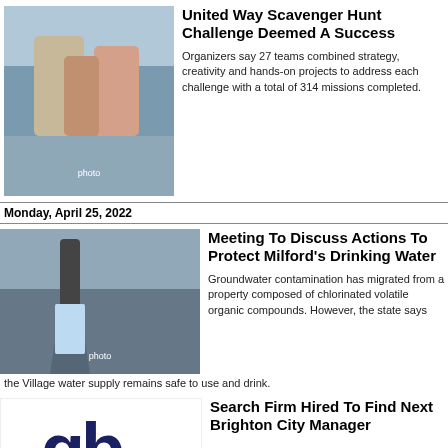[Figure (photo): Group of young people holding bottles together, viewed from below against the sky]
United Way Scavenger Hunt Challenge Deemed A Success
Organizers say 27 teams combined strategy, creativity and hands-on projects to address each challenge with a total of 314 missions completed.
Monday, April 25, 2022
[Figure (photo): Water flowing from a faucet into a glass]
Meeting To Discuss Actions To Protect Milford's Drinking Water
Groundwater contamination has migrated from a property composed of chlorinated volatile organic compounds. However, the state says the Village water supply remains safe to use and drink.
[Figure (logo): Dark blue logo with letters 'gb' in a stylized design]
Search Firm Hired To Find Next Brighton City Manager